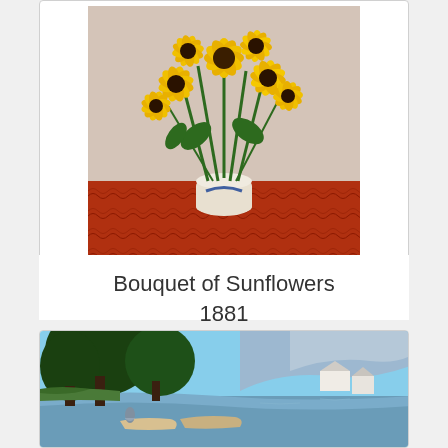[Figure (illustration): Painting of a bouquet of sunflowers in a white vase on a red tablecloth, impressionist style]
Bouquet of Sunflowers
1881
[Figure (illustration): Impressionist landscape painting showing a river scene with trees, boats, and a village in the background, figures near the water]